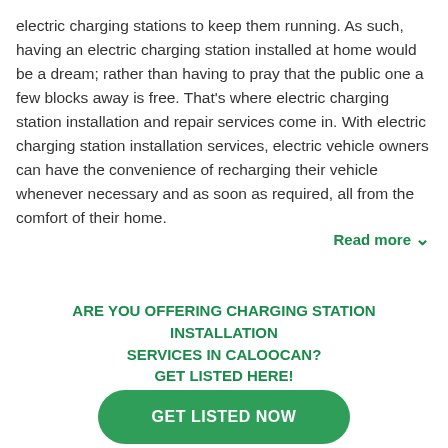electric charging stations to keep them running. As such, having an electric charging station installed at home would be a dream; rather than having to pray that the public one a few blocks away is free. That's where electric charging station installation and repair services come in. With electric charging station installation services, electric vehicle owners can have the convenience of recharging their vehicle whenever necessary and as soon as required, all from the comfort of their home.
Read more ∨
ARE YOU OFFERING CHARGING STATION INSTALLATION SERVICES IN CALOOCAN? GET LISTED HERE!
GET LISTED NOW